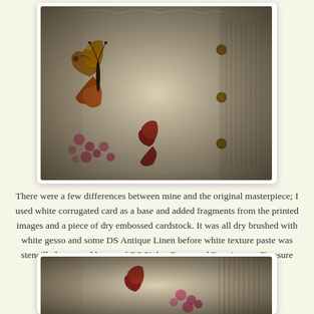[Figure (photo): A photograph showing a decorative mixed-media artwork with a butterfly image, pink floral elements, white embossed/textured fabric or card, and decorative fringe with wooden beads along the right edge. The image has dark vignetting around the edges.]
There were a few differences between mine and the original masterpiece; I used white corrugated card as a base and added fragments from the printed images and a piece of dry embossed cardstock. It was all dry brushed with white gesso and some DS Antique Linen before white texture paste was stencilled over and layers of DP Picket Fence and Renaissance Treasure Gold were brushed on.
[Figure (photo): A partial photograph at the bottom of the page showing the same or similar decorative artwork with butterfly and floral elements, partially visible.]